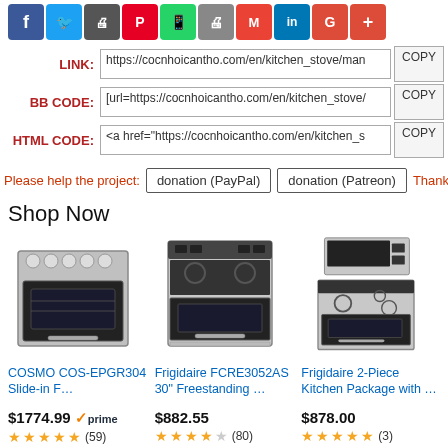[Figure (other): Row of social sharing icons: Facebook, Twitter, Print, Pinterest, WhatsApp, Print/Share, Gmail, LinkedIn, Google+, Plus]
LINK: https://cocnhoicantho.com/en/kitchen_stove/man  COPY
BB CODE: [url=https://cocnhoicantho.com/en/kitchen_stove/  COPY
HTML CODE: <a href="https://cocnhoicantho.com/en/kitchen_s  COPY
Please help the project:  donation (PayPal)  donation (Patreon)  Thank y
Shop Now
[Figure (photo): COSMO COS-EPGR304 Slide-in range stove product image]
COSMO COS-EPGR304 Slide-in F…
$1774.99 prime (59) 4.5 stars
[Figure (photo): Frigidaire FCRE3052AS 30 inch Freestanding range product image]
Frigidaire FCRE3052AS 30" Freestanding …
$882.55 (80) 4 stars
[Figure (photo): Frigidaire 2-Piece Kitchen Package product image with microwave and range]
Frigidaire 2-Piece Kitchen Package with …
$878.00 (3) 4.5 stars
[Figure (photo): Bottom row: store logo, flat cooktop, and another kitchen product — partial previews]